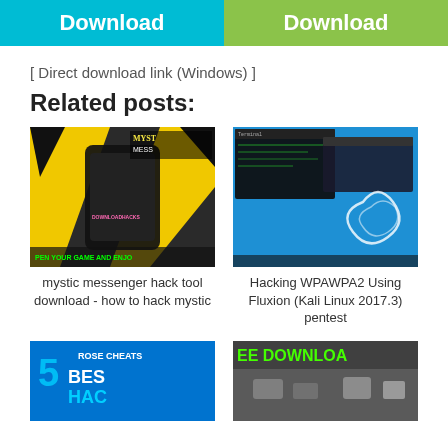[Figure (screenshot): Two download buttons side by side - left button is cyan/teal colored with white text 'Download', right button is green colored with white text 'Download']
[ Direct download link (Windows) ]
Related posts:
[Figure (photo): Thumbnail image showing a mobile phone held in hand with Mystic Messenger game imagery in background, text reads 'PEN YOUR GAME AND ENJOY' at bottom]
mystic messenger hack tool download - how to hack mystic
[Figure (screenshot): Thumbnail image showing a Kali Linux terminal/desktop screenshot with blue background and white swirl logo]
Hacking WPAWPA2 Using Fluxion (Kali Linux 2017.3) pentest
[Figure (screenshot): Partial thumbnail showing '5X ROSE CHEATS BEST HAC' text on blue background]
[Figure (screenshot): Partial thumbnail showing 'EE DOWNLOAD' text with gaming imagery]